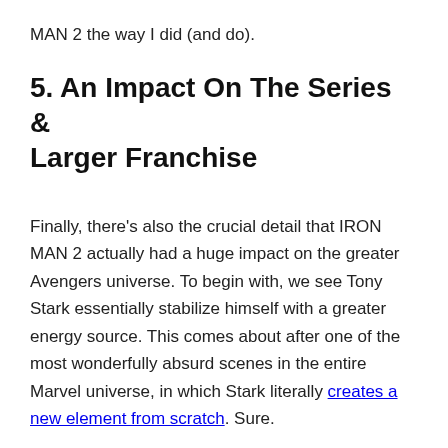MAN 2 the way I did (and do).
5. An Impact On The Series & Larger Franchise
Finally, there's also the crucial detail that IRON MAN 2 actually had a huge impact on the greater Avengers universe. To begin with, we see Tony Stark essentially stabilize himself with a greater energy source. This comes about after one of the most wonderfully absurd scenes in the entire Marvel universe, in which Stark literally creates a new element from scratch. Sure.
However, we also see Tony firmly established as the